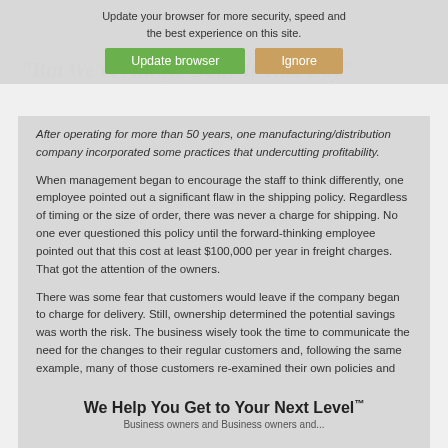[Figure (screenshot): Browser update warning overlay with 'Update your browser for more security, speed and the best experience on this site.' message, with green 'Update browser' and tan 'Ignore' buttons]
"But We've Always Done It This Way"
After operating for more than 50 years, one manufacturing/distribution company incorporated some practices that undercutting profitability.
When management began to encourage the staff to think differently, one employee pointed out a significant flaw in the shipping policy. Regardless of timing or the size of order, there was never a charge for shipping. No one ever questioned this policy until the forward-thinking employee pointed out that this cost at least $100,000 per year in freight charges. That got the attention of the owners.
There was some fear that customers would leave if the company began to charge for delivery. Still, ownership determined the potential savings was worth the risk. The business wisely took the time to communicate the need for the changes to their regular customers and, following the same example, many of those customers re-examined their own policies and realized how they could operate better. In the long run, not one customer left.
We Help You Get to Your Next Level™
Business owners and Business owners and...